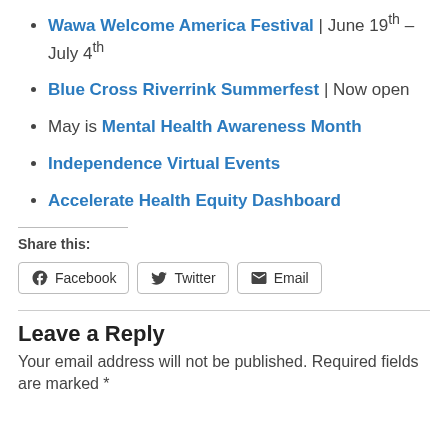Wawa Welcome America Festival | June 19th – July 4th
Blue Cross Riverrink Summerfest | Now open
May is Mental Health Awareness Month
Independence Virtual Events
Accelerate Health Equity Dashboard
Share this:
Facebook  Twitter  Email
Leave a Reply
Your email address will not be published. Required fields are marked *